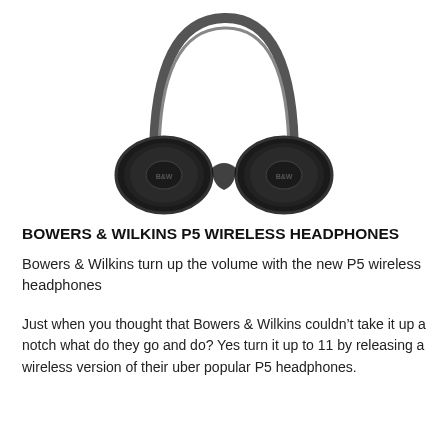[Figure (photo): Black Bowers & Wilkins P5 wireless over-ear headphones viewed from the front, folded, showing ear cups and headband with silver metal hinges, on white background.]
BOWERS & WILKINS P5 WIRELESS HEADPHONES
Bowers & Wilkins turn up the volume with the new P5 wireless headphones
Just when you thought that Bowers & Wilkins couldn't take it up a notch what do they go and do? Yes turn it up to 11 by releasing a wireless version of their uber popular P5 headphones.